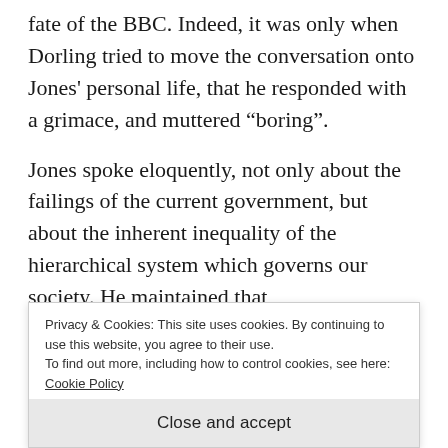fate of the BBC. Indeed, it was only when Dorling tried to move the conversation onto Jones' personal life, that he responded with a grimace, and muttered “boring”.
Jones spoke eloquently, not only about the failings of the current government, but about the inherent inequality of the hierarchical system which governs our society. He maintained that
Privacy & Cookies: This site uses cookies. By continuing to use this website, you agree to their use.
To find out more, including how to control cookies, see here: Cookie Policy
Close and accept